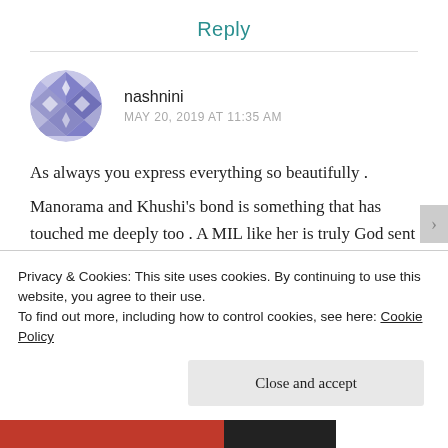Reply
[Figure (illustration): Circular avatar with blue and white geometric/diamond pattern mosaic design]
nashnini
MAY 20, 2019 AT 11:35 AM
As always you express everything so beautifully .
Manorama and Khushi’s bond is something that has touched me deeply too . A MIL like her is truly God sent
Privacy & Cookies: This site uses cookies. By continuing to use this website, you agree to their use.
To find out more, including how to control cookies, see here: Cookie Policy